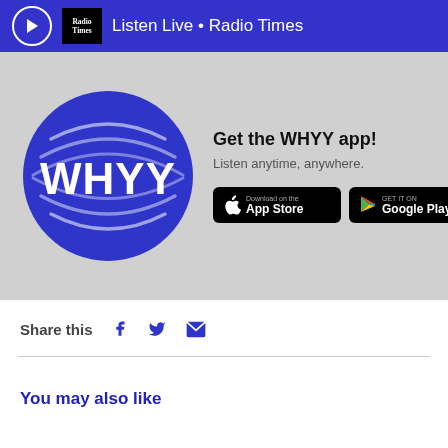Listen Live • Radio Times
[Figure (logo): WHYY circular logo in blue with radio wave arcs and WHYY text]
Get the WHYY app!
Listen anytime, anywhere.
[Figure (infographic): App Store download button (Apple)]
[Figure (infographic): Google Play download button]
Share this
You may also like